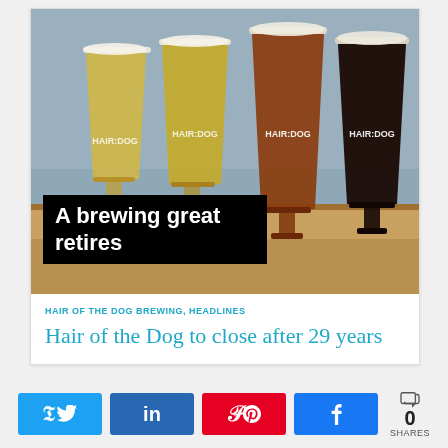[Figure (photo): Four beer glasses with 'Hair of the Dog' branding on a wooden bar surface, ranging from light golden to dark brown. Text overlay reads 'A brewing great retires' in white bold text on black background.]
HAIR OF THE DOG BREWING, HEADLINES
Hair of the Dog to close after 29 years
[Figure (infographic): Social share bar with Twitter, LinkedIn, Pinterest, and Facebook buttons, plus a share count showing 0 SHARES]